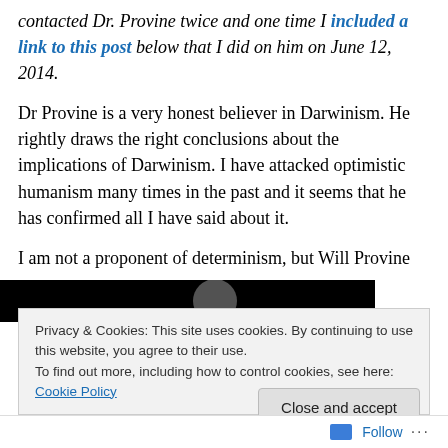contacted Dr. Provine twice and one time I included a link to this post below that I did on him on June 12, 2014.
Dr Provine is a very honest believer in Darwinism. He rightly draws the right conclusions about the implications of Darwinism. I have attacked optimistic humanism many times in the past and it seems that he has confirmed all I have said about it.
I am not a proponent of determinism, but Will Provine was.
[Figure (photo): Black image bar with partial circular shape visible]
Privacy & Cookies: This site uses cookies. By continuing to use this website, you agree to their use.
To find out more, including how to control cookies, see here: Cookie Policy
Close and accept
Follow ···